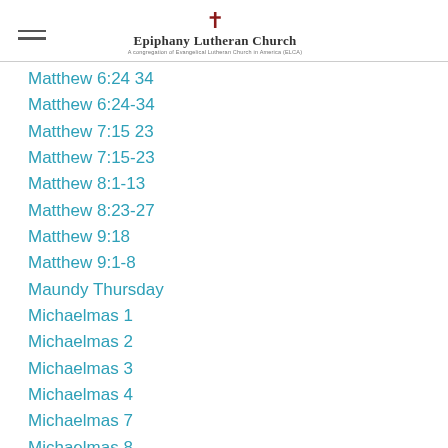Epiphany Lutheran Church
Matthew 6:24 34
Matthew 6:24-34
Matthew 7:15 23
Matthew 7:15-23
Matthew 8:1-13
Matthew 8:23-27
Matthew 9:18
Matthew 9:1-8
Maundy Thursday
Michaelmas 1
Michaelmas 2
Michaelmas 3
Michaelmas 4
Michaelmas 7
Michaelmas 8
Michaelmas 9
Misericordia Domini